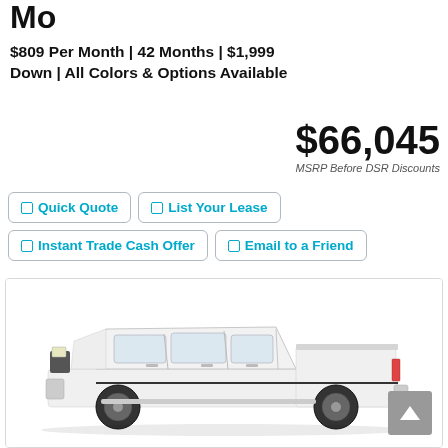Mo
$809 Per Month | 42 Months | $1,999 Down | All Colors & Options Available
$66,045
MSRP Before DSR Discounts
Quick Quote
List Your Lease
Instant Trade Cash Offer
Email to a Friend
[Figure (photo): White Ram pickup truck (crew cab, long bed) shown in profile/side view against white background]